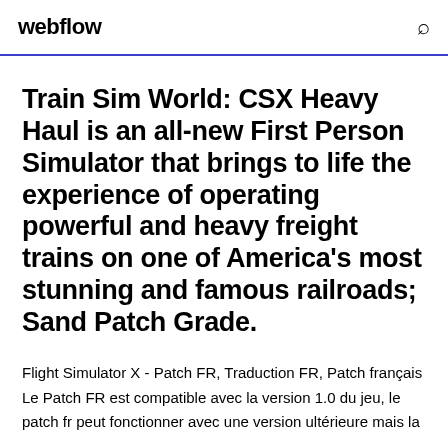webflow
Train Sim World: CSX Heavy Haul is an all-new First Person Simulator that brings to life the experience of operating powerful and heavy freight trains on one of America's most stunning and famous railroads; Sand Patch Grade.
Flight Simulator X - Patch FR, Traduction FR, Patch français Le Patch FR est compatible avec la version 1.0 du jeu, le patch fr peut fonctionner avec une version ultérieure mais la